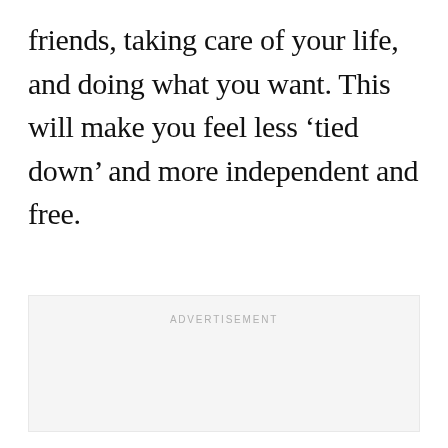friends, taking care of your life, and doing what you want. This will make you feel less ‘tied down’ and more independent and free.
[Figure (other): Advertisement placeholder box with light gray background and 'ADVERTISEMENT' label in small spaced caps at the top center.]